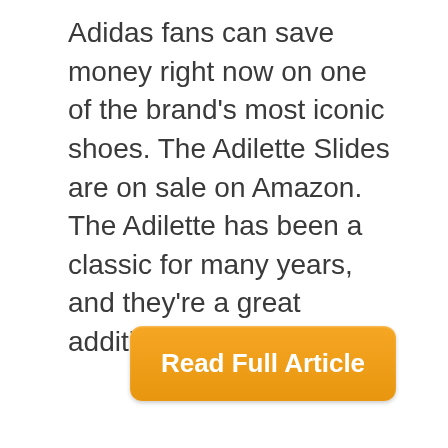Adidas fans can save money right now on one of the brand's most iconic shoes. The Adilette Slides are on sale on Amazon. The Adilette has been a classic for many years, and they're a great addition to ...
Read Full Article